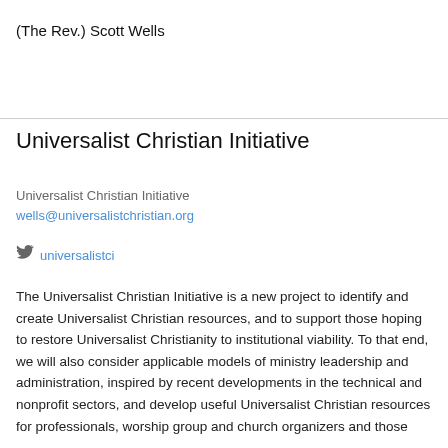(The Rev.) Scott Wells
Universalist Christian Initiative
Universalist Christian Initiative
wells@universalistchristian.org
universalistci
The Universalist Christian Initiative is a new project to identify and create Universalist Christian resources, and to support those hoping to restore Universalist Christianity to institutional viability. To that end, we will also consider applicable models of ministry leadership and administration, inspired by recent developments in the technical and nonprofit sectors, and develop useful Universalist Christian resources for professionals, worship group and church organizers and those